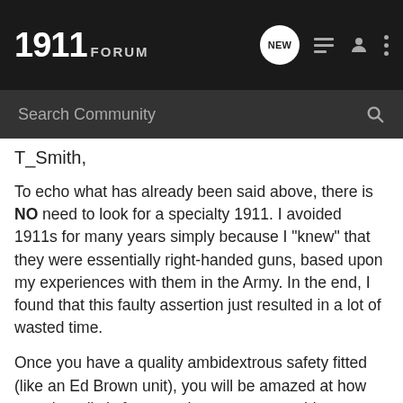1911 FORUM
T_Smith,
To echo what has already been said above, there is NO need to look for a specialty 1911. I avoided 1911s for many years simply because I "knew" that they were essentially right-handed guns, based upon my experiences with them in the Army. In the end, I found that this faulty assertion just resulted in a lot of wasted time.
Once you have a quality ambidextrous safety fitted (like an Ed Brown unit), you will be amazed at how easy it really is for a southpaw to master this sidearm. I've gotten to the point where I much prefer to release magazines with my trigger finger, and I simply can't think of any other worthwhile incompatibility issues.*